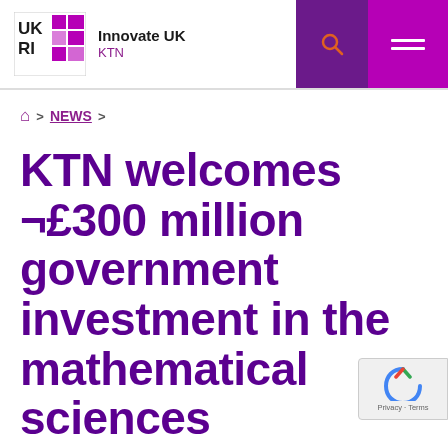Innovate UK KTN
Home > NEWS >
KTN welcomes ¬£300 million government investment in the mathematical sciences